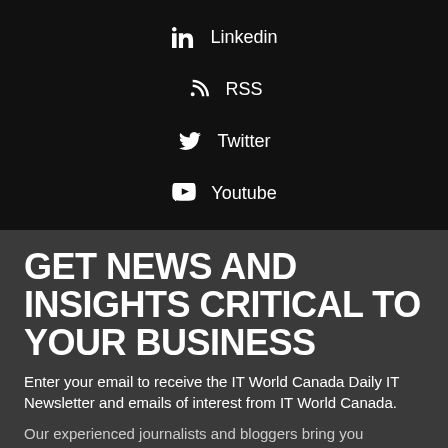Linkedin
RSS
Twitter
Youtube
GET NEWS AND INSIGHTS CRITICAL TO YOUR BUSINESS
Enter your email to receive the IT World Canada Daily IT Newsletter and emails of interest from IT World Canada.
Our experienced journalists and bloggers bring you